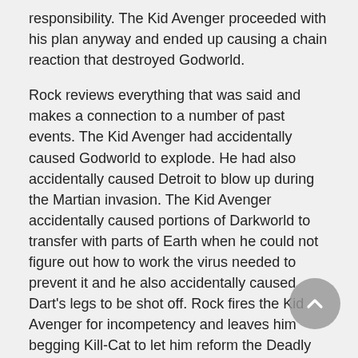responsibility. The Kid Avenger proceeded with his plan anyway and ended up causing a chain reaction that destroyed Godworld.
Rock reviews everything that was said and makes a connection to a number of past events. The Kid Avenger had accidentally caused Godworld to explode. He had also accidentally caused Detroit to blow up during the Martian invasion. The Kid Avenger accidentally caused portions of Darkworld to transfer with parts of Earth when he could not figure out how to work the virus needed to prevent it and he also accidentally caused Dart's legs to be shot off. Rock fires the Kid Avenger for incompetency and leaves him begging Kill-Cat to let him reform the Deadly Duo with him.
Alex Wilde stops by the cemetery to speak with Dragon, informing him that Chris Robinson and her have given up on restarting their relationship and that Chris has returned to being Star. Their conversation is interrupted when Cadaver makes his move against Dragon and a fight breaks out.